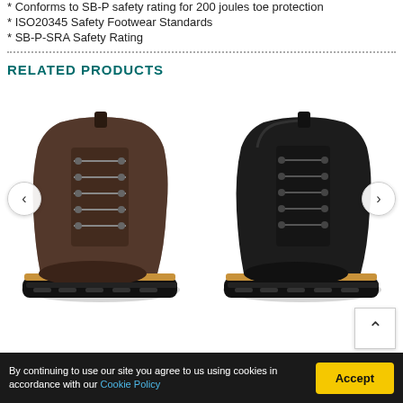* Conforms to SB-P safety rating for 200 joules toe protection
* ISO20345 Safety Footwear Standards
* SB-P-SRA Safety Rating
RELATED PRODUCTS
[Figure (photo): Brown suede lace-up ankle boot with chunky black sole and tan midsole]
[Figure (photo): Black leather lace-up ankle boot with chunky black sole and tan midsole]
By continuing to use our site you agree to us using cookies in accordance with our Cookie Policy